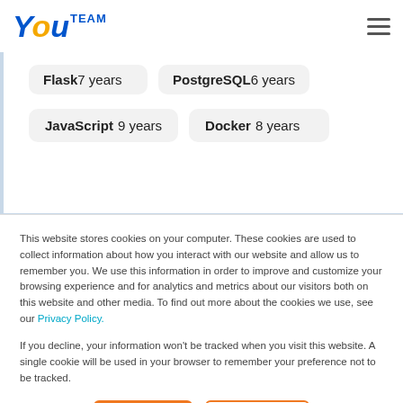[Figure (logo): YouTeam logo with stylized 'You' in blue and gold italic font and 'TEAM' in blue uppercase letters]
Flask 7 years
PostgreSQL 6 years
JavaScript 9 years
Docker 8 years
This website stores cookies on your computer. These cookies are used to collect information about how you interact with our website and allow us to remember you. We use this information in order to improve and customize your browsing experience and for analytics and metrics about our visitors both on this website and other media. To find out more about the cookies we use, see our Privacy Policy.
If you decline, your information won't be tracked when you visit this website. A single cookie will be used in your browser to remember your preference not to be tracked.